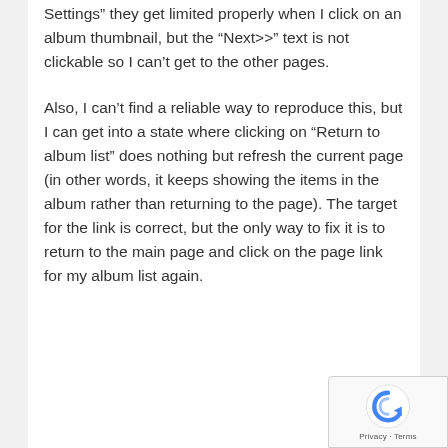Settings” they get limited properly when I click on an album thumbnail, but the “Next>>” text is not clickable so I can’t get to the other pages.
Also, I can’t find a reliable way to reproduce this, but I can get into a state where clicking on “Return to album list” does nothing but refresh the current page (in other words, it keeps showing the items in the album rather than returning to the page). The target for the link is correct, but the only way to fix it is to return to the main page and click on the page link for my album list again.
[Figure (logo): reCAPTCHA badge with recaptcha icon and Privacy - Terms text]